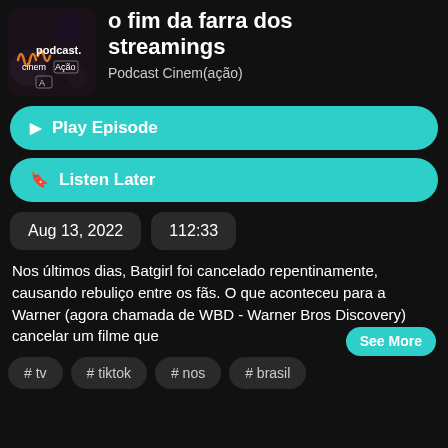o fim da farra dos streamings
Podcast Cinem(ação)
▶ Play Episode
🔖 Listen Later
Aug 13, 2022
112:33
Nos últimos dias, Batgirl foi cancelado repentinamente, causando rebuliço entre os fãs. O que aconteceu para a Warner (agora chamada de WBD - Warner Bros Discovery) cancelar um filme que
See More
# tv
# tiktok
# nos
# brasil